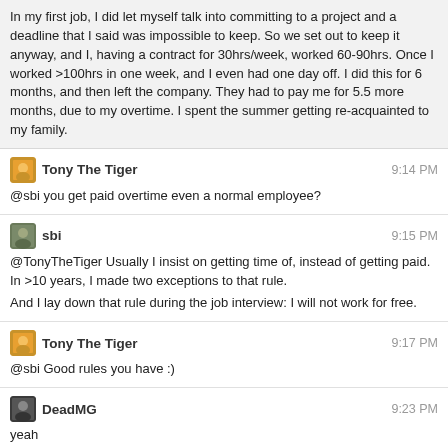In my first job, I did let myself talk into committing to a project and a deadline that I said was impossible to keep. So we set out to keep it anyway, and I, having a contract for 30hrs/week, worked 60-90hrs. Once I worked >100hrs in one week, and I even had one day off. I did this for 6 months, and then left the company. They had to pay me for 5.5 more months, due to my overtime. I spent the summer getting re-acquainted to my family.
Tony The Tiger 9:14 PM
@sbi you get paid overtime even a normal employee?
sbi 9:15 PM
@TonyTheTiger Usually I insist on getting time of, instead of getting paid. In >10 years, I made two exceptions to that rule.
And I lay down that rule during the job interview: I will not work for free.
Tony The Tiger 9:17 PM
@sbi Good rules you have :)
DeadMG 9:23 PM
yeah
I don't see why anyone would
sbi 9:25 PM
In one job, about six weeks after I had started it, I was writing a mail to my boss asking when would be a good time for me to get off to compensate my overtime. He answered that everybody has overtime and that they don't make a big deal out of it at that company. So I answered that I don't want to make a big deal out of it either, but that I had given him an hourly rate (which he translated into a monthly rate), and that I had done so for a reason.
It took a few mails back and forth, but then the industry was hiring as a C++ programmer just about anyone who could spell the name of the C or